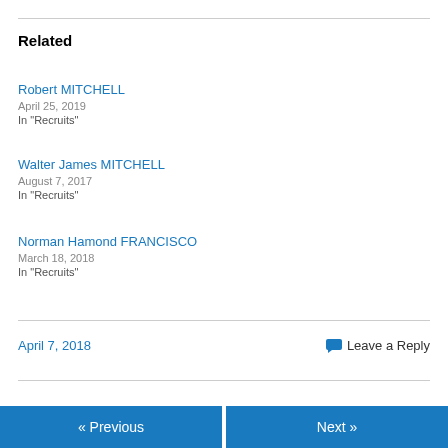Related
Robert MITCHELL
April 25, 2019
In "Recruits"
Walter James MITCHELL
August 7, 2017
In "Recruits"
Norman Hamond FRANCISCO
March 18, 2018
In "Recruits"
April 7, 2018   Leave a Reply
« Previous   Next »